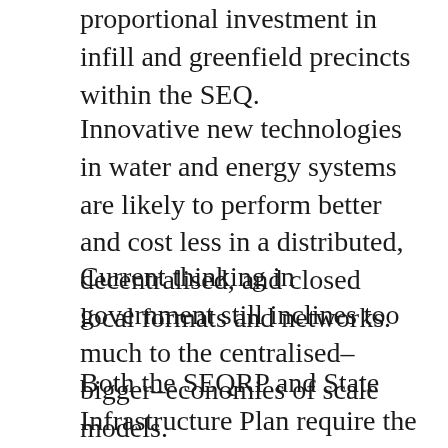proportional investment in infill and greenfield precincts within the SEQ.
Innovative new technologies in water and energy systems are likely to perform better and cost less in a distributed, decentralised, and closed local formats and networks.
Current thinking in government still inclines too much to the centralised–bigger–economies of scale models.
Both the SEQRP and State Infrastructure Plan require the flexibility in their essential commissioning to be as “future relevant” as possible in thinking about ownership and business models, procurement, design and delivery of new